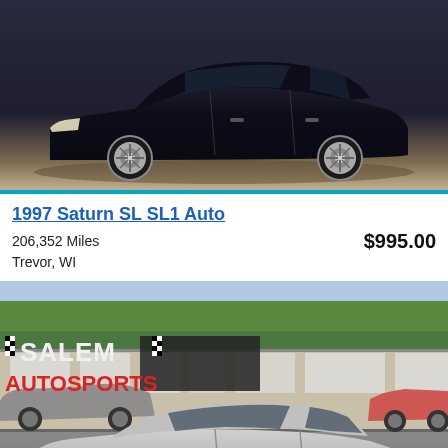[Figure (photo): Dark/black Saturn SL1 car photographed from the side on a light background]
1997 Saturn SL SL1 Auto
206,352 Miles
Trevor, WI
$995.00
[Figure (photo): Salem Autosports dealership lot with a silver Saturn sedan in the foreground and the dealership building with logo in the background]